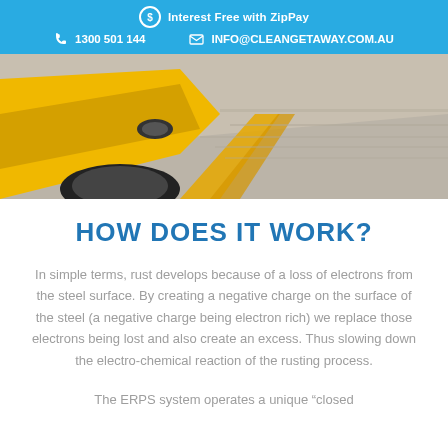Interest Free with ZipPay | 1300 501 144 | INFO@CLEANGETAWAY.COM.AU
[Figure (photo): Front view of a yellow sports car (Mustang-style) speeding on a road, motion blur in background, photographed from a low angle on the passenger side.]
HOW DOES IT WORK?
In simple terms, rust develops because of a loss of electrons from the steel surface. By creating a negative charge on the surface of the steel (a negative charge being electron rich) we replace those electrons being lost and also create an excess. Thus slowing down the electro-chemical reaction of the rusting process.
The ERPS system operates a unique "closed